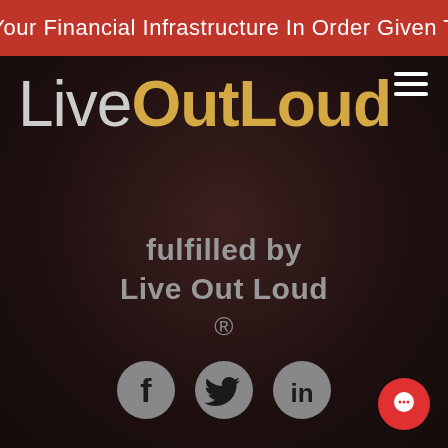s Your Financial Infrastructure In Order Given Thi
[Figure (logo): LiveOutLoud logo with 'Live' in light gray, 'Out' in gold bold, 'Loud' in gold bold text]
fulfilled by
Live Out Loud
®
[Figure (infographic): Three circular social media icons: Facebook (f), Twitter (bird), LinkedIn (in)]